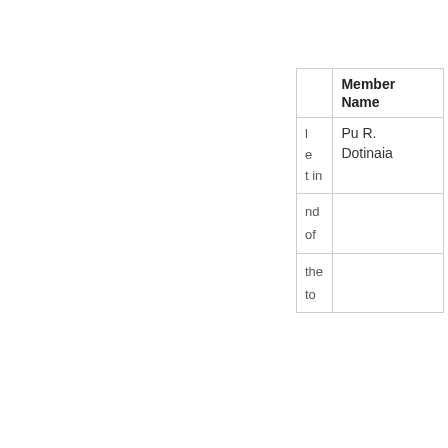|  | Member Name |
| --- | --- |
| l
e
t in | Pu R.
Dotinaia |
| nd
of |  |
| the
to |  |